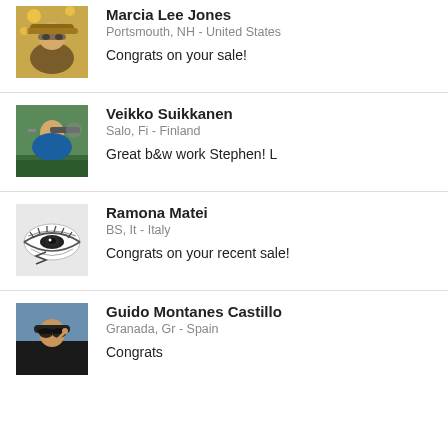[Figure (photo): Profile photo of Marcia Lee Jones, person wearing hat and sunglasses with sunflowers in background]
Marcia Lee Jones
Portsmouth, NH - United States
Congrats on your sale!
[Figure (photo): Profile photo of Veikko Suikkanen, person crouching with a large camera lens outdoors near water]
Veikko Suikkanen
Salo, Fi - Finland
Great b&w work Stephen! L
[Figure (photo): Profile photo of Ramona Matei, artistic drawing of an eye in black and white]
Ramona Matei
BS, It - Italy
Congrats on your recent sale!
[Figure (photo): Profile photo of Guido Montanes Castillo, person wearing sunglasses and hat, blue background]
Guido Montanes Castillo
Granada, Gr - Spain
Congrats